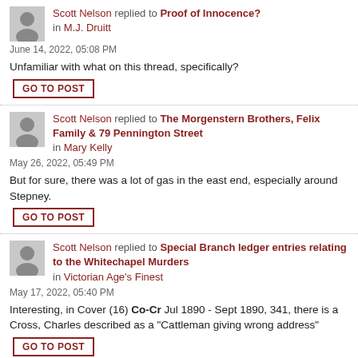Scott Nelson replied to Proof of Innocence? in M.J. Druitt
June 14, 2022, 05:08 PM
Unfamiliar with what on this thread, specifically?
GO TO POST
Scott Nelson replied to The Morgenstern Brothers, Felix Family & 79 Pennington Street in Mary Kelly
May 26, 2022, 05:49 PM
But for sure, there was a lot of gas in the east end, especially around Stepney.
GO TO POST
Scott Nelson replied to Special Branch ledger entries relating to the Whitechapel Murders in Victorian Age's Finest
May 17, 2022, 05:40 PM
Interesting, in Cover (16) Co-Cr Jul 1890 - Sept 1890, 341, there is a Cross, Charles described as a "Cattleman giving wrong address"
GO TO POST